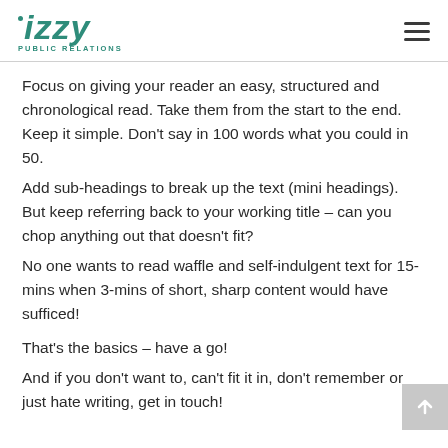izzy PUBLIC RELATIONS
Focus on giving your reader an easy, structured and chronological read. Take them from the start to the end. Keep it simple. Don't say in 100 words what you could in 50.
Add sub-headings to break up the text (mini headings). But keep referring back to your working title – can you chop anything out that doesn't fit?
No one wants to read waffle and self-indulgent text for 15-mins when 3-mins of short, sharp content would have sufficed!
That's the basics – have a go!
And if you don't want to, can't fit it in, don't remember or just hate writing, get in touch!